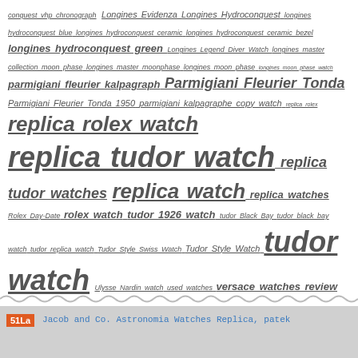conquest vhp chronograph Longines Evidenza Longines Hydroconquest longines hydroconquest blue longines hydroconquest ceramic longines hydroconquest ceramic bezel longines hydroconquest green Longines Legend Diver Watch longines master collection moon phase longines master moonphase longines moon phase longines moon phase watch parmigiani fleurier kalpagraph Parmigiani Fleurier Tonda Parmigiani Fleurier Tonda 1950 parmigiani kalpagraphe copy watch replica rolex replica rolex watch replica tudor watch replica tudor watches replica watch replica watches Rolex Day-Date rolex watch tudor 1926 watch tudor Black Bay tudor black bay watch tudor replica watch Tudor Style Swiss Watch Tudor Style Watch tudor watch Ulysse Nardin watch used watches versace watches review
51La  Jacob and Co. Astronomia Watches Replica, patek